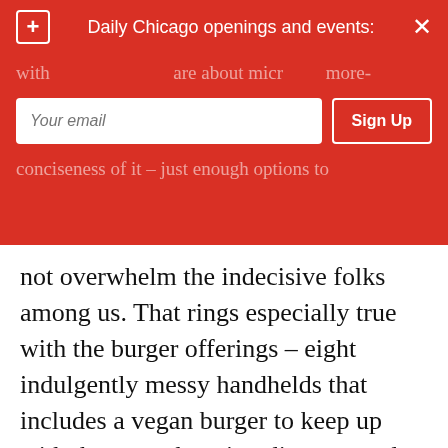Daily Chicago openings and events:
[Figure (screenshot): Email signup overlay banner with red background, a plus icon on the left, 'Daily Chicago openings and events:' title, an X close button on the right, an email input field with placeholder text 'Your email', and a 'Sign Up' button]
not overwhelm the indecisive folks among us. That rings especially true with the burger offerings – eight indulgently messy handhelds that includes a vegan burger to keep up with the ever-changing dietary trends of the modern generations. The burger patties – made from some secret, magical blend of red meat and seasonings – are cooked to order and surprisingly, are not overshadowed by the numerous sauces, cheeses and other toppings each sandwich